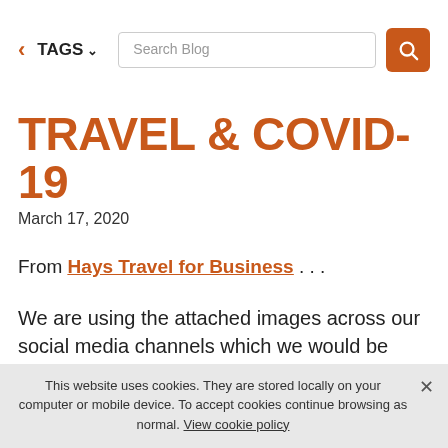< TAGS ▾  [Search Blog] [🔍]
TRAVEL & COVID-19
March 17, 2020
From Hays Travel for Business . . .
We are using the attached images across our social media channels which we would be delighted if anyone can share. As this is a time of uncertainty not only for the travel industry but on a global scale for many, many companies are working tirelessly to provide advice and cancelling flights at the unforeseeable.
This website uses cookies. They are stored locally on your computer or mobile device. To accept cookies continue browsing as normal. View cookie policy